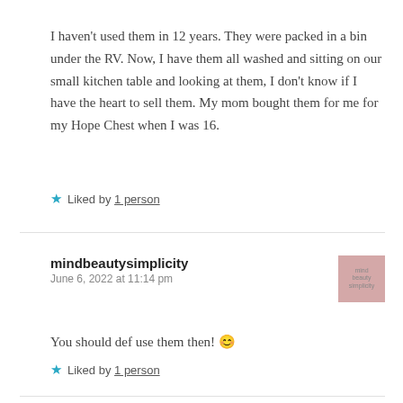I haven't used them in 12 years. They were packed in a bin under the RV. Now, I have them all washed and sitting on our small kitchen table and looking at them, I don't know if I have the heart to sell them. My mom bought them for me for my Hope Chest when I was 16.
★ Liked by 1 person
mindbeautysimplicity
June 6, 2022 at 11:14 pm
You should def use them then! 😊
★ Liked by 1 person